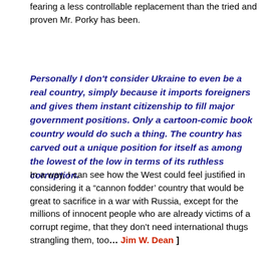fearing a less controllable replacement than the tried and proven Mr. Porky has been.
Personally I don't consider Ukraine to even be a real country, simply because it imports foreigners and gives them instant citizenship to fill major government positions. Only a cartoon-comic book country would do such a thing. The country has carved out a unique position for itself as among the lowest of the low in terms of its ruthless corruption.
In a way, I can see how the West could feel justified in considering it a “cannon fodder’ country that would be great to sacrifice in a war with Russia, except for the millions of innocent people who are already victims of a corrupt regime, that they don’t need international thugs strangling them, too… Jim W. Dean ]